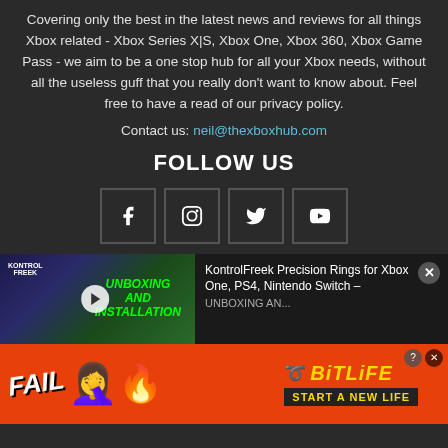Covering only the best in the latest news and reviews for all things Xbox related - Xbox Series X|S, Xbox One, Xbox 360, Xbox Game Pass - we aim to be a one stop hub for all your Xbox needs, without all the useless guff that you really don't want to know about. Feel free to have a read of our privacy policy.
Contact us: neil@thexboxhub.com
FOLLOW US
[Figure (other): Four social media icon buttons: Facebook, Instagram, Twitter, YouTube]
[Figure (other): Video thumbnail showing KontrolFreek Precision Rings unboxing and installation video with play button. Title: KontrolFreek Precision Rings for Xbox One, PS4, Nintendo Switch - UNBOXING AND...]
[Figure (other): BitLife advertisement banner with FAIL text, emoji, flames, and START A NEW LIFE text]